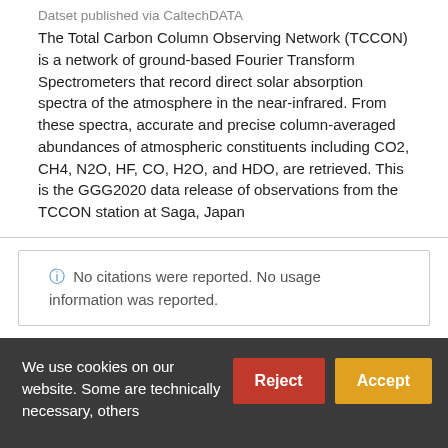Datset published via CaltechDATA
The Total Carbon Column Observing Network (TCCON) is a network of ground-based Fourier Transform Spectrometers that record direct solar absorption spectra of the atmosphere in the near-infrared. From these spectra, accurate and precise column-averaged abundances of atmospheric constituents including CO2, CH4, N2O, HF, CO, H2O, and HDO, are retrieved. This is the GGG2020 data release of observations from the TCCON station at Saga, Japan
No citations were reported. No usage information was reported.
https://doi.org/10.14291/tccon.ggg2020.saga01.r0
Cite
We use cookies on our website. Some are technically necessary, others help us improve your experience.